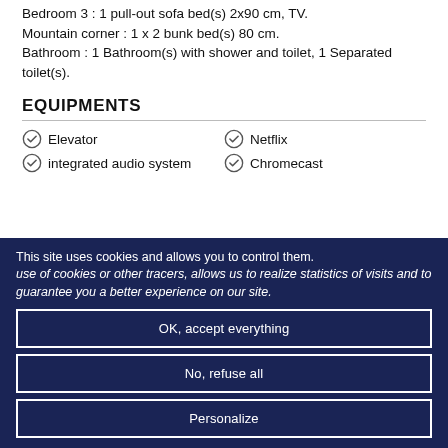Bedroom 3 : 1 pull-out sofa bed(s) 2x90 cm, TV.
Mountain corner : 1 x 2 bunk bed(s) 80 cm.
Bathroom : 1 Bathroom(s) with shower and toilet, 1 Separated toilet(s).
EQUIPMENTS
Elevator
Netflix
integrated audio system
Chromecast
This site uses cookies and allows you to control them. use of cookies or other tracers, allows us to realize statistics of visits and to guarantee you a better experience on our site.
OK, accept everything
No, refuse all
Personalize